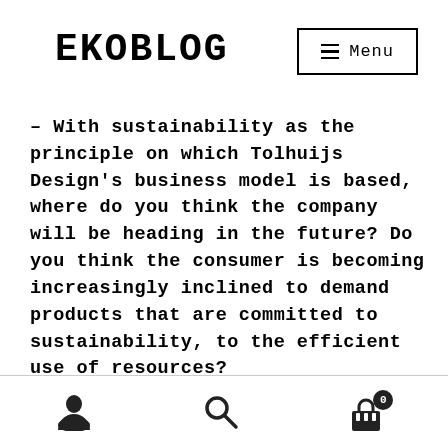EKOBLOG
– With sustainability as the principle on which Tolhuijs Design's business model is based, where do you think the company will be heading in the future? Do you think the consumer is becoming increasingly inclined to demand products that are committed to sustainability, to the efficient use of resources?
[user icon] [search icon] [cart icon with 0]